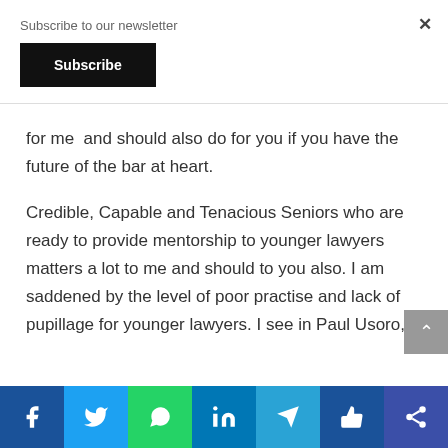Subscribe to our newsletter
Subscribe
×
for me  and should also do for you if you have the future of the bar at heart.
Credible, Capable and Tenacious Seniors who are ready to provide mentorship to younger lawyers matters a lot to me and should to you also. I am saddened by the level of poor practise and lack of pupillage for younger lawyers. I see in Paul Usoro, a
[Figure (other): Social media sharing bar with icons: Facebook, Twitter, WhatsApp, LinkedIn, Telegram, Like, Share]